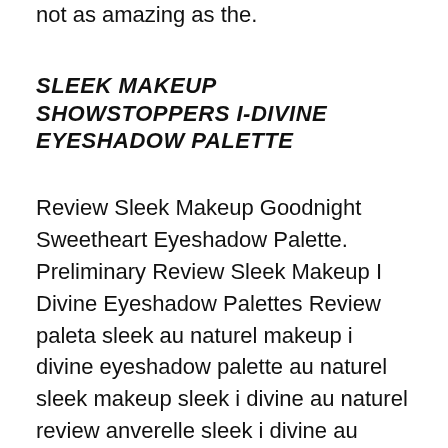not as amazing as the.
SLEEK MAKEUP SHOWSTOPPERS I-DIVINE EYESHADOW PALETTE
Review Sleek Makeup Goodnight Sweetheart Eyeshadow Palette. Preliminary Review Sleek Makeup I Divine Eyeshadow Palettes Review paleta sleek au naturel makeup i divine eyeshadow palette au naturel sleek makeup sleek i divine au naturel review anverelle sleek i divine au naturel palette review and swatches . Whats people lookup in this blog: Sleek Makeup I Divine Eyeshadow Palette Au Naturel Review; Share this: Click to share on Twitter (Opens in new, Find helpful customer reviews and review ratings for Sleek MakeUP iDivine Eyeshadow Palette Au Naturel 12 x 0.8g at Amazon.com